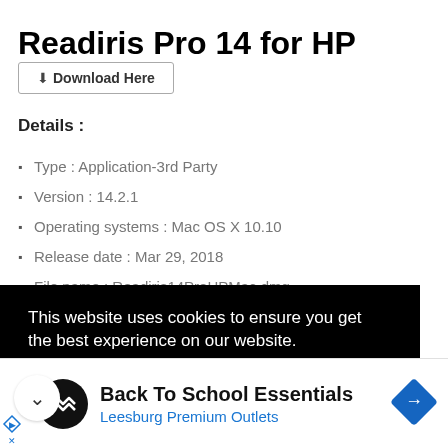Readiris Pro 14 for HP
[Figure (other): Download Here button with download icon]
Details :
Type : Application-3rd Party
Version : 14.2.1
Operating systems : Mac OS X 10.10
Release date : Mar 29, 2018
File name : Readiris14ProHPMac.dmg
This website uses cookies to ensure you get the best experience on our website.
Learn more
[Figure (other): Advertisement banner: Back To School Essentials – Leesburg Premium Outlets with logo and direction sign icon]